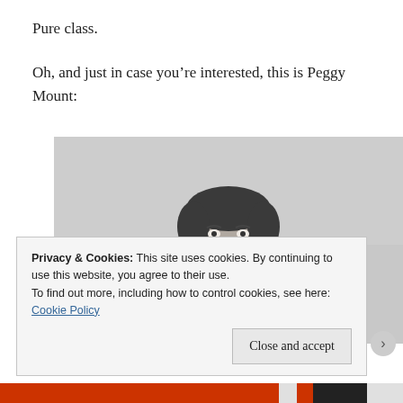Pure class.
Oh, and just in case you're interested, this is Peggy Mount:
[Figure (photo): Black and white photograph of a woman (Peggy Mount), wearing a patterned vest/apron over dark clothing, looking upward with mouth slightly open, against a light background.]
Privacy & Cookies: This site uses cookies. By continuing to use this website, you agree to their use.
To find out more, including how to control cookies, see here: Cookie Policy
Close and accept